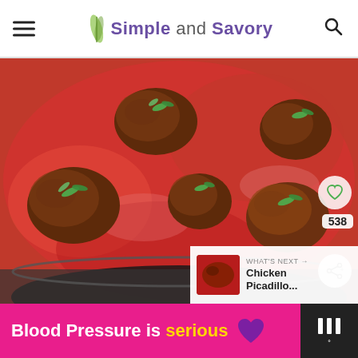Simple and Savory
[Figure (photo): Meatballs in tomato sauce in a dark round baking pan, garnished with fresh herbs, photographed close up from above.]
538
WHAT'S NEXT → Chicken Picadillo...
Blood Pressure is serious